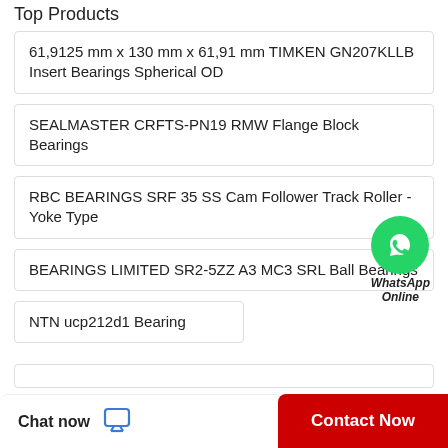Top Products
61,9125 mm x 130 mm x 61,91 mm TIMKEN GN207KLLB Insert Bearings Spherical OD
SEALMASTER CRFTS-PN19 RMW Flange Block Bearings
RBC BEARINGS SRF 35 SS Cam Follower Track Roller - Yoke Type
[Figure (logo): WhatsApp green circle icon with phone handset, labeled WhatsApp Online]
BEARINGS LIMITED SR2-5ZZ A3 MC3 SRL Ball Bearings
NTN ucp212d1 Bearing
Chat now  Contact Now